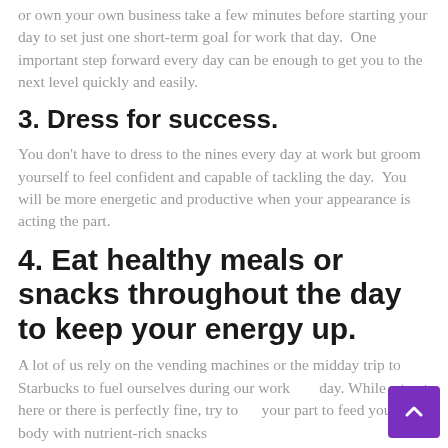or own your own business take a few minutes before starting your day to set just one short-term goal for work that day.  One important step forward every day can be enough to get you to the next level quickly and easily.
3. Dress for success.
You don't have to dress to the nines every day at work but groom yourself to feel confident and capable of tackling the day.  You will be more energetic and productive when your appearance is acting the part.
4. Eat healthy meals or snacks throughout the day to keep your energy up.
A lot of us rely on the vending machines or the midday trip to Starbucks to fuel ourselves during our workday. While a treat here or there is perfectly fine, try to do your part to feed your body with nutrient-rich snacks